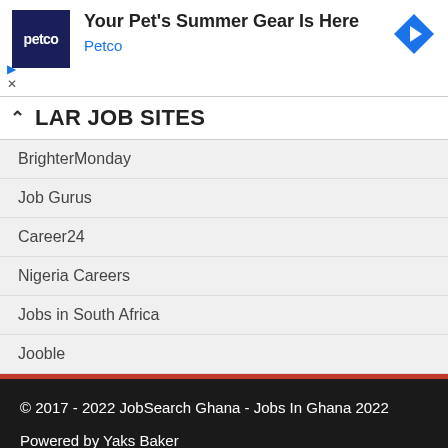[Figure (other): Petco advertisement banner: logo with 'petco' on dark blue background, headline 'Your Pet's Summer Gear Is Here', brand name 'Petco' in blue, navigation arrow icon on right, play and close controls on left.]
LAR JOB SITES
BrighterMonday
Job Gurus
Career24
Nigeria Careers
Jobs in South Africa
Jooble
© 2017 - 2022 JobSearch Ghana - Jobs In Ghana 2022
Powered by Yaks Baker